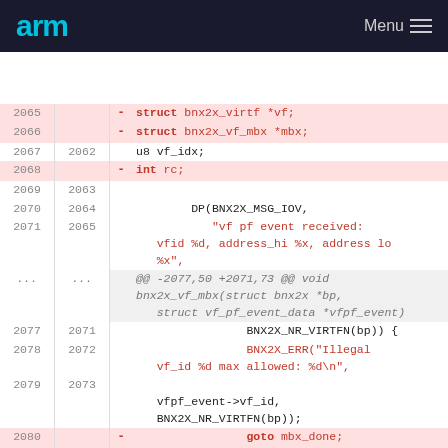arm   Menu
[Figure (screenshot): Code diff view showing changes to a C source file. Lines 2065-2080 old, 2062-2074 new. Removed lines (pink) include struct bnx2x_virtf *vf, struct bnx2x_vf_mbx *mbx, int rc, and goto mbx_done. Added line (green) shows return. Context lines show DP(BNX2X_MSG_IOV, string format, BNX2X_NR_VIRTFN, BNX2X_ERR calls.]